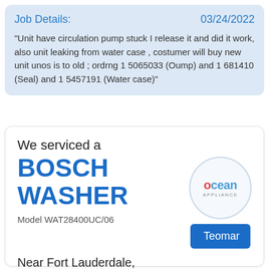Job Details:   03/24/2022
"Unit have circulation pump stuck I release it and did it work, also unit leaking from water case , costumer will buy new unit unos is to old ; ordrng 1 5065033 (Oump) and 1 681410 (Seal) and 1 5457191 (Water case)"
We serviced a
BOSCH WASHER
[Figure (logo): Ocean Appliance logo inside a light blue circle, with Teomar button below]
Model WAT28400UC/06
Near Fort Lauderdale, FL 33316